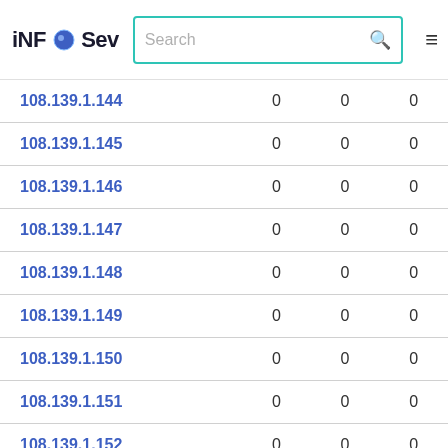iNFOSev [logo] | Search | hamburger menu
| IP |  |  |  |
| --- | --- | --- | --- |
| 108.139.1.144 | 0 | 0 | 0 |
| 108.139.1.145 | 0 | 0 | 0 |
| 108.139.1.146 | 0 | 0 | 0 |
| 108.139.1.147 | 0 | 0 | 0 |
| 108.139.1.148 | 0 | 0 | 0 |
| 108.139.1.149 | 0 | 0 | 0 |
| 108.139.1.150 | 0 | 0 | 0 |
| 108.139.1.151 | 0 | 0 | 0 |
| 108.139.1.152 | 0 | 0 | 0 |
| 108.139.1.153 | 0 | 0 | 0 |